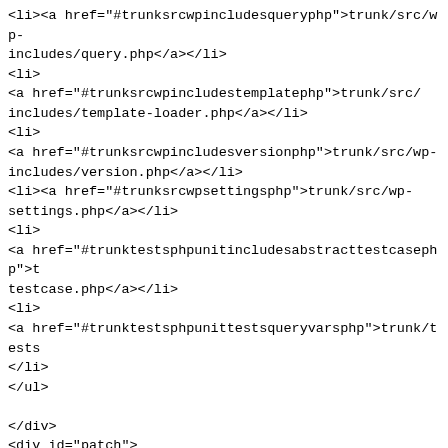<li><a href="#trunksrcwpincludesqueryphp">trunk/src/wp-includes/query.php</a></li>
<li>
<a href="#trunksrcwpincludestemplatephp">trunk/src/includes/template-loader.php</a></li>
<li>
<a href="#trunksrcwpincludesversionphp">trunk/src/wp-includes/version.php</a></li>
<li><a href="#trunksrcwpsettingsphp">trunk/src/wp-settings.php</a></li>
<li>
<a href="#trunktestsphpunitincludesabstracttestcasephp">t testcase.php</a></li>
<li>
<a href="#trunktestsphpunittestsqueryvarsphp">trunk/tests </li>
</ul>

</div>
<div id="patch">
<h3>Diff</h3>
<a id="trunksrcwpincludescanonicaphp"></a>
<div class="modfile"><h4 style="background-color: #eee; color: inherit; margin: 1em 0; padding: 1.3e size: 115%">Modified: trunk/src/wp-includes/canonical.php</h4>
<pre class="diff"><span>
<span class="info" style="display: block; padding: 0 10px">
-- trunk/src/wp-includes/canonical.php      2019-12-27 00:28:39 UTC (rev 47017)